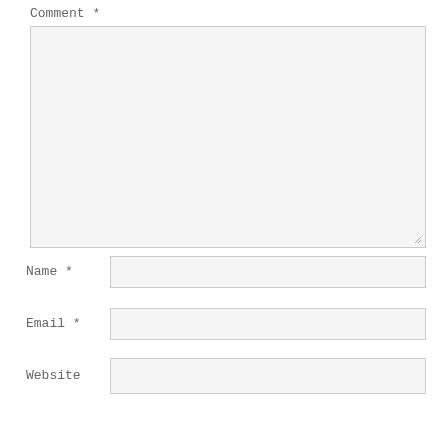Comment *
[Figure (other): Large comment textarea input field with light gray background and resize handle]
Name *
[Figure (other): Name text input field with light gray background]
Email *
[Figure (other): Email text input field with light gray background]
Website
[Figure (other): Website text input field with light gray background]